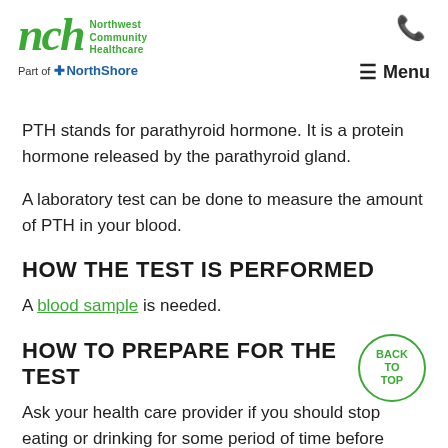NCH Northwest Community Healthcare — Part of NorthShore — Menu
PTH stands for parathyroid hormone. It is a protein hormone released by the parathyroid gland.
A laboratory test can be done to measure the amount of PTH in your blood.
HOW THE TEST IS PERFORMED
A blood sample is needed.
HOW TO PREPARE FOR THE TEST
Ask your health care provider if you should stop eating or drinking for some period of time before